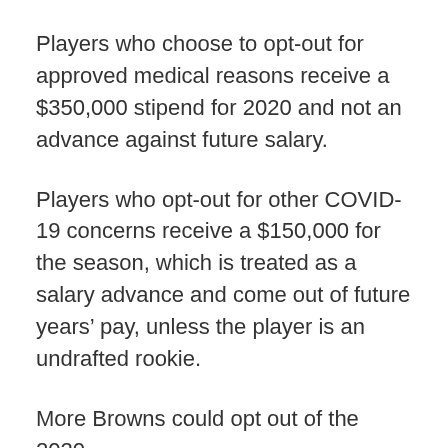Players who choose to opt-out for approved medical reasons receive a $350,000 stipend for 2020 and not an advance against future salary.
Players who opt-out for other COVID-19 concerns receive a $150,000 for the season, which is treated as a salary advance and come out of future years' pay, unless the player is an undrafted rookie.
More Browns could opt out of the 2020 season, considering several players have decided to already, including six members of